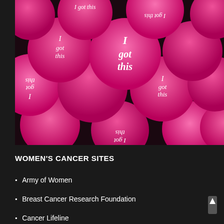[Figure (photo): A pile of pink circular buttons/pins with 'I got this' written in white text across them, some upright and some upside-down, arranged in an overlapping pattern.]
WOMEN'S CANCER SITES
Army of Women
Breast Cancer Research Foundation
Cancer Lifeline